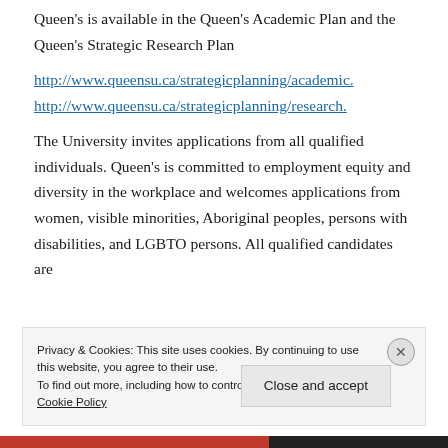Queen's is available in the Queen's Academic Plan and the Queen's Strategic Research Plan
http://www.queensu.ca/strategicplanning/academic.
http://www.queensu.ca/strategicplanning/research.
The University invites applications from all qualified individuals. Queen's is committed to employment equity and diversity in the workplace and welcomes applications from women, visible minorities, Aboriginal peoples, persons with disabilities, and LGBTO persons. All qualified candidates are
Privacy & Cookies: This site uses cookies. By continuing to use this website, you agree to their use.
To find out more, including how to control cookies, see here: Cookie Policy
Close and accept